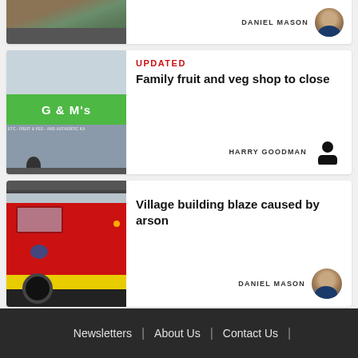[Figure (photo): Partial top card showing a road/brushfire landscape photo]
DANIEL MASON
[Figure (photo): G&M's fruit and veg shop storefront with green sign]
UPDATED
Family fruit and veg shop to close
HARRY GOODMAN
[Figure (photo): Red fire engine/truck close-up photo]
Village building blaze caused by arson
DANIEL MASON
Newsletters | About Us | Contact Us |